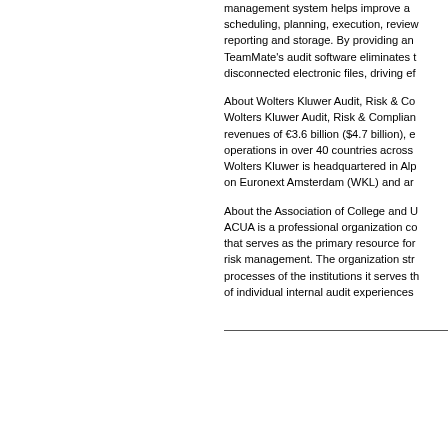management system helps improve audit scheduling, planning, execution, review reporting and storage. By providing an TeamMate's audit software eliminates t disconnected electronic files, driving ef
About Wolters Kluwer Audit, Risk & Co Wolters Kluwer Audit, Risk & Complian revenues of €3.6 billion ($4.7 billion), e operations in over 40 countries across Wolters Kluwer is headquartered in Alp on Euronext Amsterdam (WKL) and ar
About the Association of College and U ACUA is a professional organization co that serves as the primary resource for risk management. The organization str processes of the institutions it serves th of individual internal audit experiences